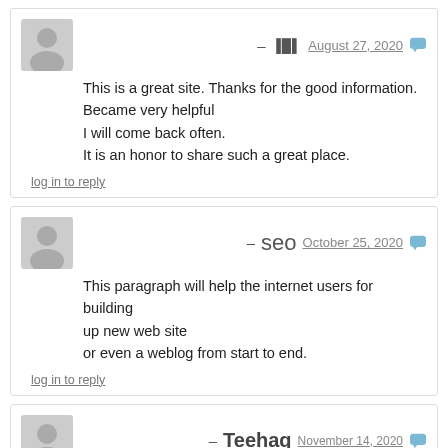— [anon icon] August 27, 2020
This is a great site. Thanks for the good information.
Became very helpful
I will come back often.
It is an honor to share such a great place.
log in to reply
— seo October 25, 2020
This paragraph will help the internet users for building up new web site
or even a weblog from start to end.
log in to reply
— Teehag November 14, 2020
What i do not understood is if truth be
told how you're not actually a lot more well-liked than you may be right now.
You're so intelligent. You already know therefore significantly
when it comes to this matter, produced me individually believe it from so many numerous
angles. Its like men and women are not interested